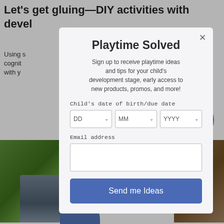Let's get gluing—DIY activities with devel
Using s... l like cognit... es with y...
[Figure (screenshot): Popup modal overlay on a webpage about DIY children's activities. Modal titled 'Playtime Solved' with subtitle 'Sign up to receive playtime ideas and tips for your child's development stage, early access to new products, promos, and more!'. Contains date of birth selectors (DD, MM, YYYY), email address field, and a 'Send me Ideas' button.]